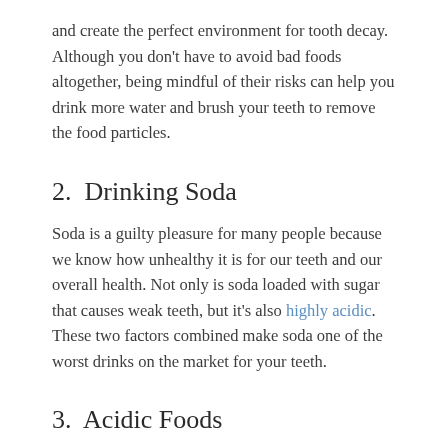and create the perfect environment for tooth decay. Although you don't have to avoid bad foods altogether, being mindful of their risks can help you drink more water and brush your teeth to remove the food particles.
2.  Drinking Soda
Soda is a guilty pleasure for many people because we know how unhealthy it is for our teeth and our overall health. Not only is soda loaded with sugar that causes weak teeth, but it's also highly acidic. These two factors combined make soda one of the worst drinks on the market for your teeth.
3.  Acidic Foods
In addition to limiting your consumption of sweets,